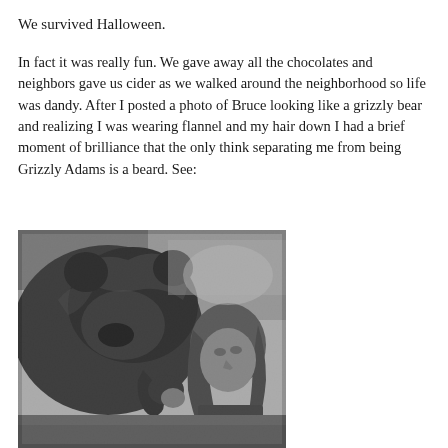We survived Halloween.
In fact it was really fun. We gave away all the chocolates and neighbors gave us cider as we walked around the neighborhood so life was dandy. After I posted a photo of Bruce looking like a grizzly bear and realizing I was wearing flannel and my hair down I had a brief moment of brilliance that the only think separating me from being Grizzly Adams is a beard. See:
[Figure (photo): Black and white photograph of a large grizzly bear face-to-face with a long-haired man, appearing to nuzzle or interact closely outdoors with grass in the background.]